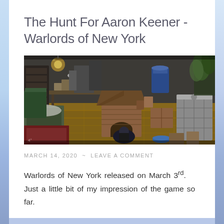The Hunt For Aaron Keener - Warlords of New York
[Figure (screenshot): In-game screenshot from Warlords of New York showing a cluttered rooftop or indoor scene with a doghouse, various crates, barrels, a large water container, plants, and tables in a post-apocalyptic setting with wooden flooring.]
MARCH 14, 2020  ~  LEAVE A COMMENT
Warlords of New York released on March 3rd. Just a little bit of my impression of the game so far.